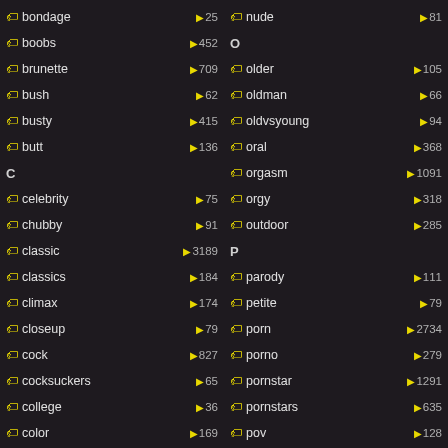bondage 25
boobs 452
brunette 709
bush 62
busty 415
butt 136
C
celebrity 75
chubby 91
classic 3189
classics 184
climax 174
closeup 79
cock 827
cocksuckers 65
college 36
color 169
comedy 107
nude 81
O
older 105
oldman 66
oldvsyoung 94
oral 368
orgasm 1091
orgy 318
outdoor 285
P
parody 111
petite 79
porn 2734
porno 279
pornstar 1291
pornstars 635
pov 128
production 91